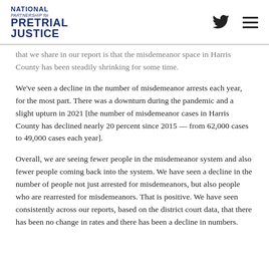National Partnership for Pretrial Justice
that we share in our report is that the misdemeanor space in Harris County has been steadily shrinking for some time.
We've seen a decline in the number of misdemeanor arrests each year, for the most part. There was a downturn during the pandemic and a slight upturn in 2021 [the number of misdemeanor cases in Harris County has declined nearly 20 percent since 2015 — from 62,000 cases to 49,000 cases each year].
Overall, we are seeing fewer people in the misdemeanor system and also fewer people coming back into the system. We have seen a decline in the number of people not just arrested for misdemeanors, but also people who are rearrested for misdemeanors. That is positive. We have seen consistently across our reports, based on the district court data, that there has been no change in rates and there has been a decline in numbers.